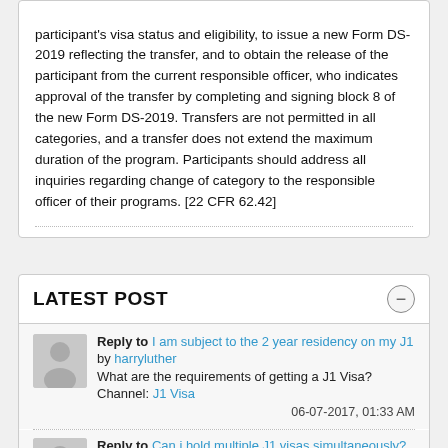participant's visa status and eligibility, to issue a new Form DS-2019 reflecting the transfer, and to obtain the release of the participant from the current responsible officer, who indicates approval of the transfer by completing and signing block 8 of the new Form DS-2019. Transfers are not permitted in all categories, and a transfer does not extend the maximum duration of the program. Participants should address all inquiries regarding change of category to the responsible officer of their programs. [22 CFR 62.42]
LATEST POST
Reply to I am subject to the 2 year residency on my J1 by harryluther
What are the requirements of getting a J1 Visa?
Channel: J1 Visa
06-07-2017, 01:33 AM
Reply to Can i hold multiple J1 visas simultaneously? a … by Hasan
Your program sponsor should be able to advise you on this, …
Channel: J1 Visa